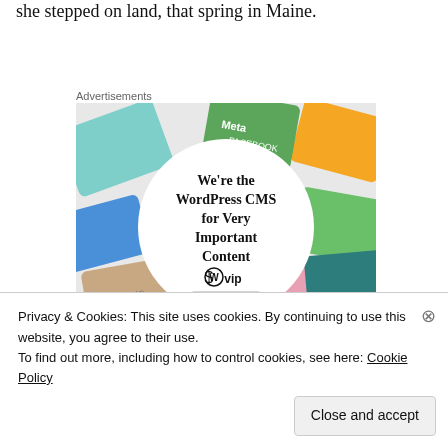she stepped on land, that spring in Maine.
Advertisements
[Figure (illustration): WordPress VIP advertisement showing colorful book/magazine covers arranged around a white circle with text 'We're the WordPress CMS for Very Important Content' and a 'Learn more' button with WordPress VIP logo]
Privacy & Cookies: This site uses cookies. By continuing to use this website, you agree to their use.
To find out more, including how to control cookies, see here: Cookie Policy
Close and accept